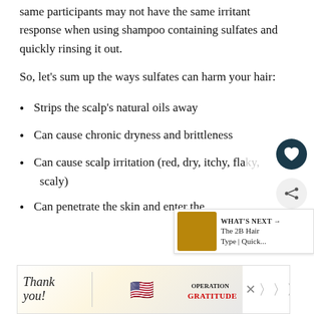same participants may not have the same irritant response when using shampoo containing sulfates and quickly rinsing it out.
So, let’s sum up the ways sulfates can harm your hair:
Strips the scalp’s natural oils away
Can cause chronic dryness and brittleness
Can cause scalp irritation (red, dry, itchy, flaky, scaly)
Can penetrate the skin and enter the